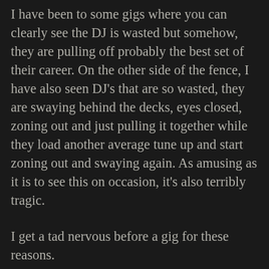I have been to some gigs where you can clearly see the DJ is wasted but somehow, they are pulling off probably the best set of their career. On the other side of the fence, I have also seen DJ's that are so wasted, they are swaying behind the decks, eyes closed, zoning out and just pulling it together while they load another average tune up and start zoning out and swaying again. As amusing as it is to see this on occasion, it's also terribly tragic.
I get a tad nervous before a gig for these reasons.